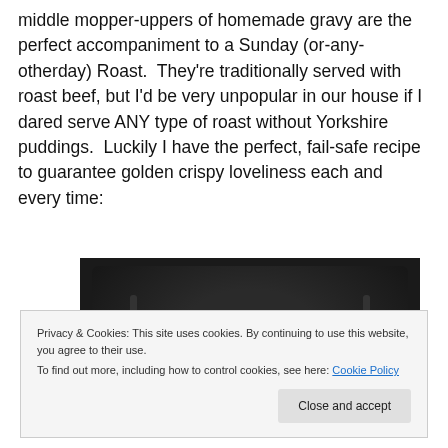middle mopper-uppers of homemade gravy are the perfect accompaniment to a Sunday (or-any-otherday) Roast. They're traditionally served with roast beef, but I'd be very unpopular in our house if I dared serve ANY type of roast without Yorkshire puddings. Luckily I have the perfect, fail-safe recipe to guarantee golden crispy loveliness each and every time:
[Figure (photo): Dark interior of an oven, showing the oven rack and a glowing heating element visible at the bottom right corner.]
Privacy & Cookies: This site uses cookies. By continuing to use this website, you agree to their use.
To find out more, including how to control cookies, see here: Cookie Policy
Close and accept